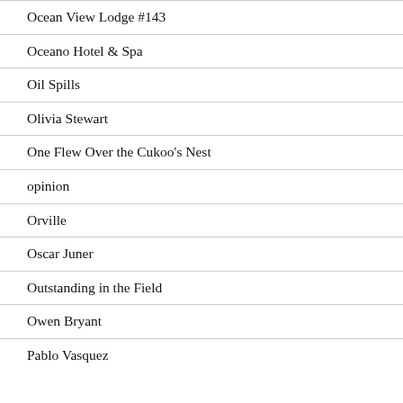Ocean View Lodge #143
Oceano Hotel & Spa
Oil Spills
Olivia Stewart
One Flew Over the Cukoo's Nest
opinion
Orville
Oscar Juner
Outstanding in the Field
Owen Bryant
Pablo Vasquez